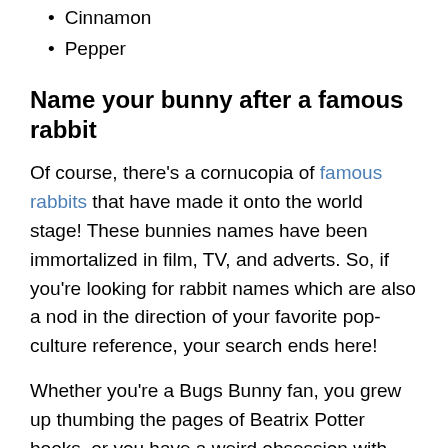Cinnamon
Pepper
Name your bunny after a famous rabbit
Of course, there’s a cornucopia of famous rabbits that have made it onto the world stage! These bunnies names have been immortalized in film, TV, and adverts. So, if you’re looking for rabbit names which are also a nod in the direction of your favorite pop-culture reference, your search ends here!
Whether you’re a Bugs Bunny fan, you grew up thumbing the pages of Beatrix Potter books, or you have a weird obsession with the Duracell bunny, we’ve got a whole bunch of cute names for you to consider: